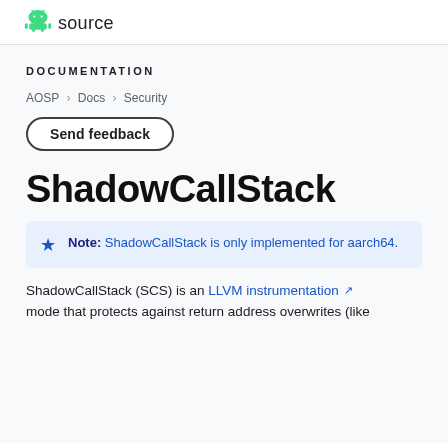source
DOCUMENTATION
AOSP > Docs > Security
Send feedback
ShadowCallStack
Note: ShadowCallStack is only implemented for aarch64.
ShadowCallStack (SCS) is an LLVM instrumentation mode that protects against return address overwrites (like